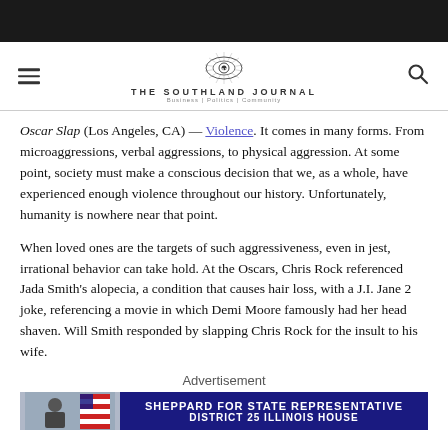THE SOUTHLAND JOURNAL — Business | Politics | Community
Oscar Slap (Los Angeles, CA) — Violence. It comes in many forms. From microaggressions, verbal aggressions, to physical aggression. At some point, society must make a conscious decision that we, as a whole, have experienced enough violence throughout our history. Unfortunately, humanity is nowhere near that point.
When loved ones are the targets of such aggressiveness, even in jest, irrational behavior can take hold. At the Oscars, Chris Rock referenced Jada Smith's alopecia, a condition that causes hair loss, with a J.I. Jane 2 joke, referencing a movie in which Demi Moore famously had her head shaven. Will Smith responded by slapping Chris Rock for the insult to his wife.
Advertisement
[Figure (other): Political advertisement banner: Sheppard for State Representative, District 25 Illinois House]